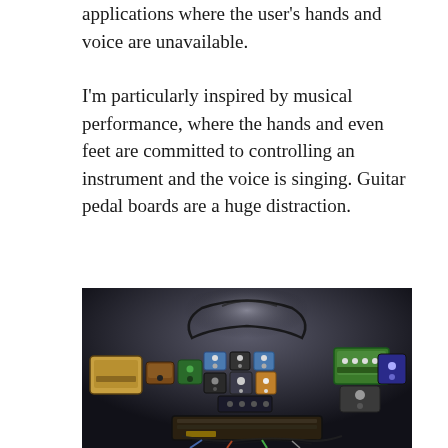applications where the user's hands and voice are unavailable.
I'm particularly inspired by musical performance, where the hands and even feet are committed to controlling an instrument and the voice is singing. Guitar pedal boards are a huge distraction.
[Figure (photo): A guitar pedal board photographed from above on a dark stage floor, showing numerous effects pedals arranged in a horseshoe/arc shape with cables connecting them, including various colored pedals and a large pedalboard base.]